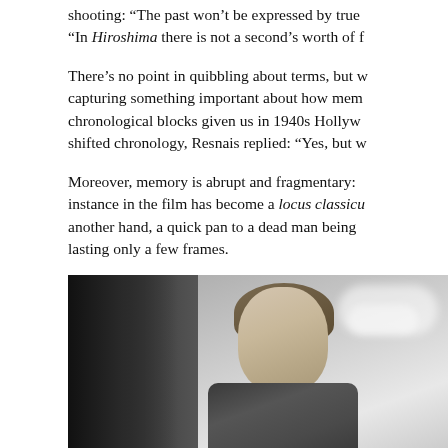shooting: “The past won’t be expressed by true “In Hiroshima there is not a second’s worth of f
There’s no point in quibbling about terms, but w capturing something important about how mem chronological blocks given us in 1940s Hollyw shifted chronology, Resnais replied: “Yes, but w
Moreover, memory is abrupt and fragmentary: instance in the film has become a locus classicu another hand, a quick pan to a dead man being lasting only a few frames.
[Figure (photo): Black and white film still showing a woman with a bob haircut peeking around a dark door or wall, wearing a patterned top, with a cloudy sky visible in the background.]